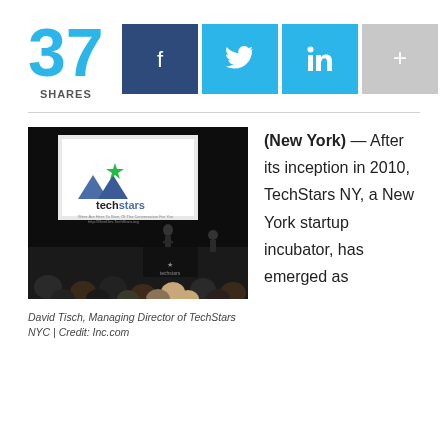37 SHARES
[Figure (photo): TechStars NYC event photo showing a speaker on stage with TechStars logo on a projection screen and audience in foreground]
David Tisch, Managing Director of TechStars NYC | Credit: Inc.com
(New York) — After its inception in 2010, TechStars NY, a New York startup incubator, has emerged as